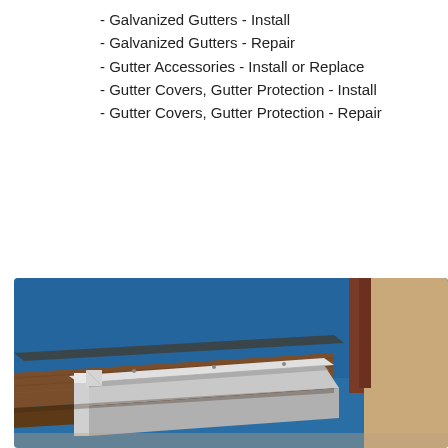- Galvanized Gutters - Install
- Galvanized Gutters - Repair
- Gutter Accessories - Install or Replace
- Gutter Covers, Gutter Protection - Install
- Gutter Covers, Gutter Protection - Repair
[Figure (photo): Close-up photo of a roof corner with a galvanized metal gutter installed at the edge of a wooden fascia board, with a brick chimney visible against a clear blue sky background.]